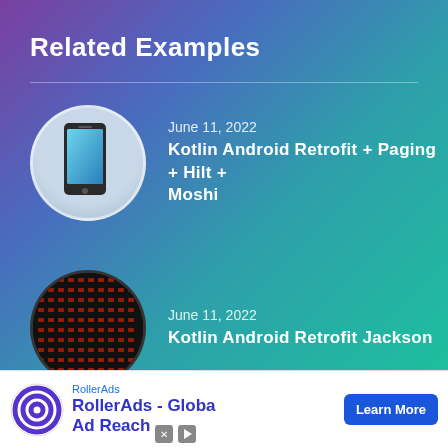Related Examples
June 11, 2022
Kotlin Android Retrofit + Paging + Hilt + Moshi
June 11, 2022
Kotlin Android Retrofit Jackson
June 11, 2022
[Figure (infographic): RollerAds advertisement banner showing logo, text 'RollerAds - Global Ad Reach' and a 'Learn More' button]